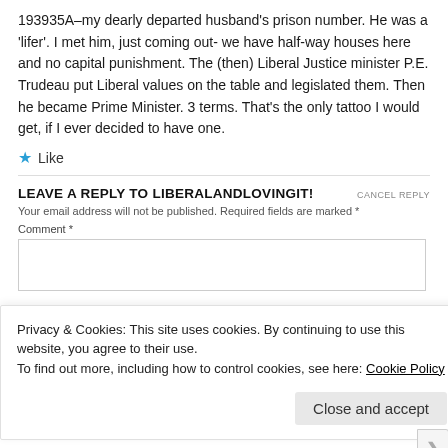193935A–my dearly departed husband's prison number. He was a 'lifer'. I met him, just coming out- we have half-way houses here and no capital punishment. The (then) Liberal Justice minister P.E. Trudeau put Liberal values on the table and legislated them. Then he became Prime Minister. 3 terms. That's the only tattoo I would get, if I ever decided to have one.
★ Like
LEAVE A REPLY TO LIBERALANDLOVINGIT!
Your email address will not be published. Required fields are marked *
Comment *
Privacy & Cookies: This site uses cookies. By continuing to use this website, you agree to their use.
To find out more, including how to control cookies, see here: Cookie Policy